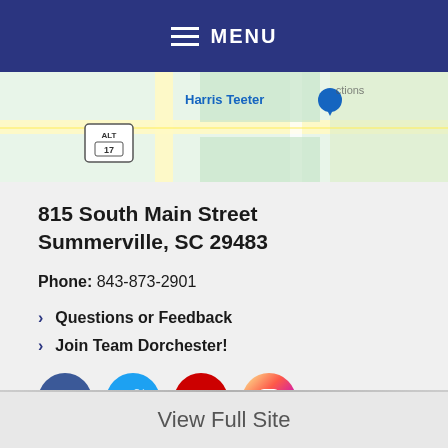MENU
[Figure (map): Partial Google Maps view showing Harris Teeter location near route ALT 17 in Summerville area]
815 South Main Street Summerville, SC 29483
Phone: 843-873-2901
Questions or Feedback
Join Team Dorchester!
[Figure (other): Social media icons: Facebook, Twitter, YouTube, Instagram]
Site Map
Back To Top
View Full Site